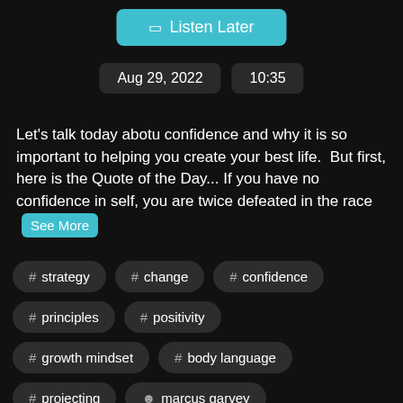Listen Later
Aug 29, 2022   10:35
Let's talk today abotu confidence and why it is so important to helping you create your best life.  But first, here is the Quote of the Day... If you have no confidence in self, you are twice defeated in the race   See More
# strategy
# change
# confidence
# principles
# positivity
# growth mindset
# body language
# projecting
marcus garvey